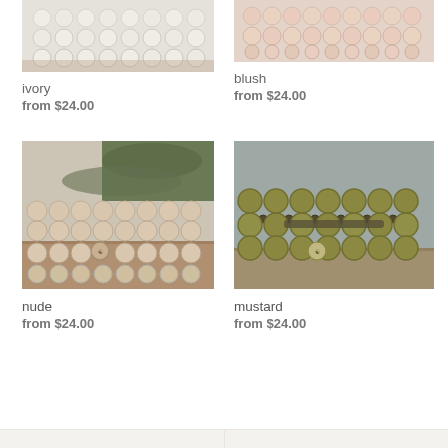[Figure (photo): Ivory beaded bracelets stacked, partially visible from top, on a wooden surface]
ivory
from $24.00
[Figure (photo): Blush pink beaded bracelets stacked, partially visible from top, on a marble surface]
blush
from $24.00
[Figure (photo): Nude/cream beaded bracelets stacked with small charm pendant, on a wooden surface with green plant in background]
nude
from $24.00
[Figure (photo): Mustard/olive green beaded bracelets stacked with small charm, on a wooden surface against grey background]
mustard
from $24.00